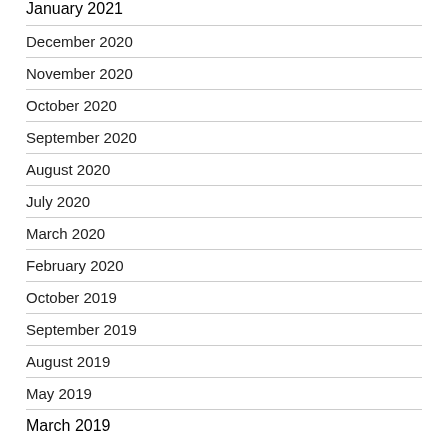January 2021
December 2020
November 2020
October 2020
September 2020
August 2020
July 2020
March 2020
February 2020
October 2019
September 2019
August 2019
May 2019
March 2019